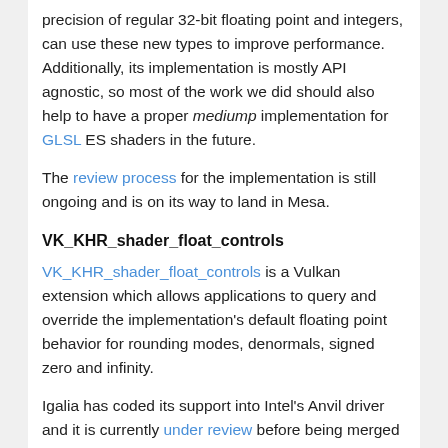precision of regular 32-bit floating point and integers, can use these new types to improve performance. Additionally, its implementation is mostly API agnostic, so most of the work we did should also help to have a proper mediump implementation for GLSL ES shaders in the future.
The review process for the implementation is still ongoing and is on its way to land in Mesa.
VK_KHR_shader_float_controls
VK_KHR_shader_float_controls is a Vulkan extension which allows applications to query and override the implementation's default floating point behavior for rounding modes, denormals, signed zero and infinity.
Igalia has coded its support into Intel's Anvil driver and it is currently under review before being merged into Mesa.
VkRunner
VkRunner is a Vulkan shader tester based